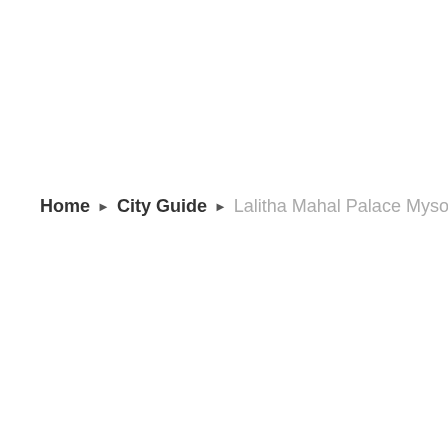Home ▶ City Guide ▶ Lalitha Mahal Palace Mysore